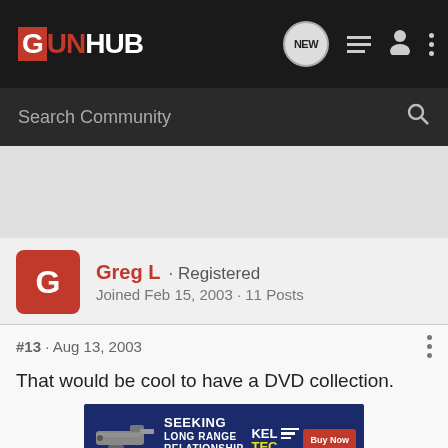GUNHUB
Search Community
Greg L · Registered
Joined Feb 15, 2003 · 11 Posts
#13 · Aug 13, 2003
That would be cool to have a DVD collection.
[Figure (infographic): Advertisement banner for Kel-Tec CP33 pistol: 'SEEKING LONG RANGE RELATIONSHIP' with Buy Now button]
From w... ...ue is